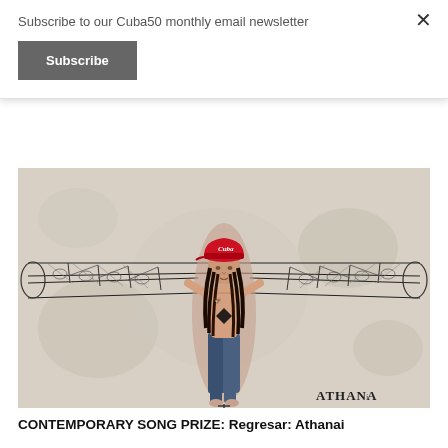Subscribe to our Cuba50 monthly email newsletter
Subscribe
[Figure (illustration): Mixed-media artwork showing a person viewed from above with outstretched arms forming airplane wings. The figure wears a red Cuba baseball cap, has tattoos, and is shirtless with jeans. Behind the figure is a detailed technical drawing of a biplane/aircraft structure. Signed 'ATHANA' in the lower right corner.]
CONTEMPORARY SONG PRIZE: Regresar: Athanai